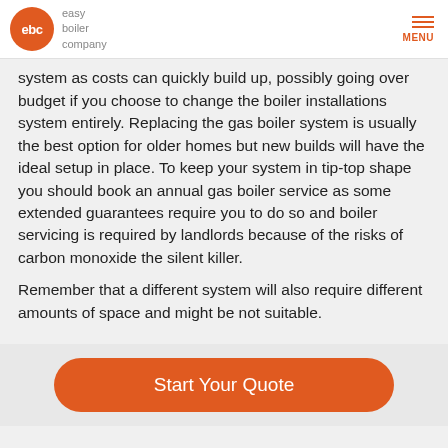ebc easy boiler company | MENU
system as costs can quickly build up, possibly going over budget if you choose to change the boiler installations system entirely. Replacing the gas boiler system is usually the best option for older homes but new builds will have the ideal setup in place. To keep your system in tip-top shape you should book an annual gas boiler service as some extended guarantees require you to do so and boiler servicing is required by landlords because of the risks of carbon monoxide the silent killer.
Remember that a different system will also require different amounts of space and might be not suitable.
Start Your Quote